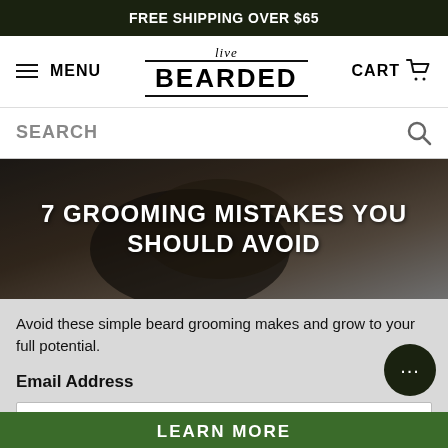FREE SHIPPING OVER $65
[Figure (screenshot): Navigation bar with hamburger menu (MENU), Live Bearded logo, and CART icon]
SEARCH
[Figure (photo): Close-up photograph of a man's beard and face with dark background]
7 GROOMING MISTAKES YOU SHOULD AVOID
Avoid these simple beard grooming makes and grow to your full potential.
Email Address
enter your email address
LEARN MORE